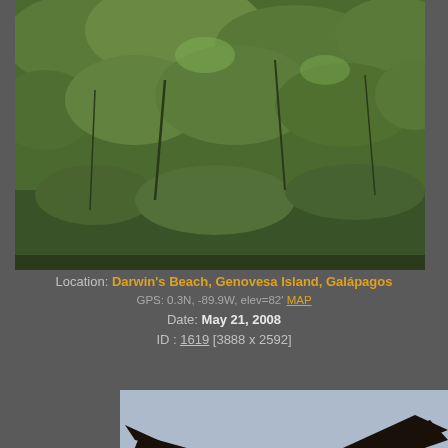[Figure (photo): Photograph of dense scrubby green vegetation on Darwin's Beach, Genovesa Island, Galápagos]
Location: Darwin's Beach, Genovesa Island, Galápagos
GPS: 0.3N, -89.9W, elev=82' MAP
Date: May 21, 2008
ID : 1619 [3888 x 2592]
[Figure (photo): Photograph of a frigatebird in flight against a light blue sky, wings spread wide, viewed from below]